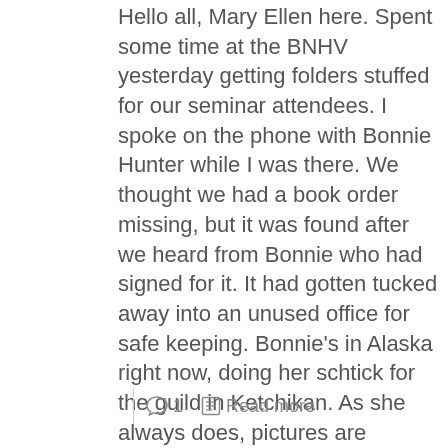Hello all, Mary Ellen here. Spent some time at the BNHV yesterday getting folders stuffed for our seminar attendees. I spoke on the phone with Bonnie Hunter while I was there. We thought we had a book order missing, but it was found after we heard from Bonnie who had signed for it. It had gotten tucked away into an unused office for safe keeping. Bonnie's in Alaska right now, doing her schtick for the guild in Ketchikan. As she always does, pictures are posted on her daily blog. (Make sure you do your hair and put on lipstick if you're coming to our seminar. You may get a moment of fame on her blog if you're in a class of hers) Yesterday Bonnie explored the town and spent time in a brand new library. Check out the cool art work in the library and be sure to go all […]
1  Read more